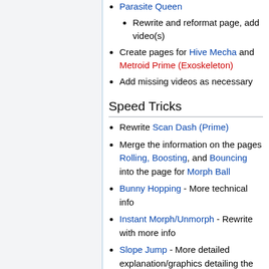Parasite Queen
Rewrite and reformat page, add video(s)
Create pages for Hive Mecha and Metroid Prime (Exoskeleton)
Add missing videos as necessary
Speed Tricks
Rewrite Scan Dash (Prime)
Merge the information on the pages Rolling, Boosting, and Bouncing into the page for Morph Ball
Bunny Hopping - More technical info
Instant Morph/Unmorph - Rewrite with more info
Slope Jump - More detailed explanation/graphics detailing the inner mechanics
Rapid-Fire Missiles - Rewrite, maybe